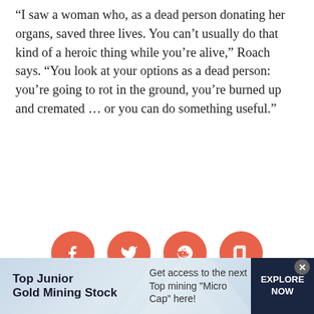“I saw a woman who, as a dead person donating her organs, saved three lives. You can’t usually do that kind of a heroic thing while you’re alive,” Roach says. “You look at your options as a dead person: you’re going to rot in the ground, you’re burned up and cremated … or you can do something useful.”
[Figure (infographic): Four orange circular social media share buttons: Facebook, Twitter, Reddit, and a share/copy icon]
[Figure (infographic): Advertisement banner for Top Junior Gold Mining Stock with text: Get access to the next Top mining Micro Cap here! and an EXPLORE NOW button]